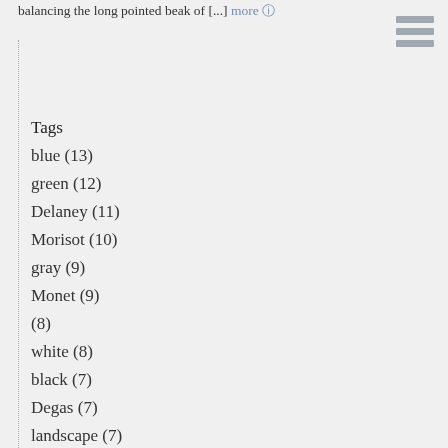balancing the long pointed beak of [...] more
Tags
blue (13)
green (12)
Delaney (11)
Morisot (10)
gray (9)
Monet (9)
(8)
white (8)
black (7)
Degas (7)
landscape (7)
Manet (7)
Monet (7)
green (7)